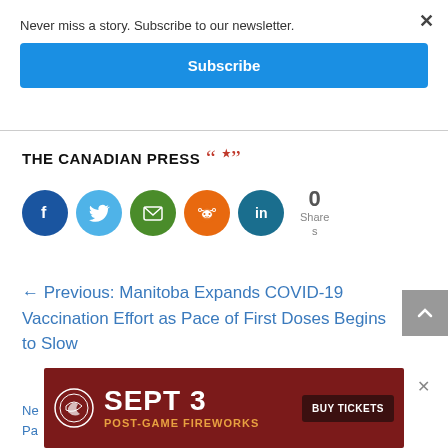Never miss a story. Subscribe to our newsletter.
Subscribe
[Figure (logo): THE CANADIAN PRESS logo with Canadian maple leaf icon]
[Figure (infographic): Social share icons: Facebook, Twitter, Email, Reddit, LinkedIn. Share count: 0 Shares]
← Previous: Manitoba Expands COVID-19 Vaccination Effort as Pace of First Doses Begins to Slow
[Figure (infographic): Advertisement banner: SEPT 3 POST-GAME FIREWORKS BUY TICKETS on dark red background with logo]